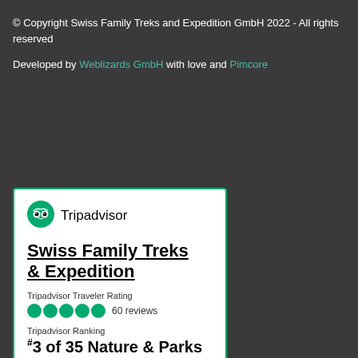© Copyright Swiss Family Treks and Expedition GmbH 2022 - All rights reserved
Developed by Weblizards GmbH with love and Pimcore
[Figure (logo): Tripadvisor widget card with green owl logo, business name 'Swiss Family Treks & Expedition', 5-bubble traveler rating with 60 reviews, ranking #3 of 35 Nature & Parks in Kathmandu, and Recent Traveler Reviews section]
Swiss Family Treks & Expedition
Tripadvisor Traveler Rating
60 reviews
Tripadvisor Ranking
#3 of 35 Nature & Parks in Kathmandu
Recent Traveler Reviews